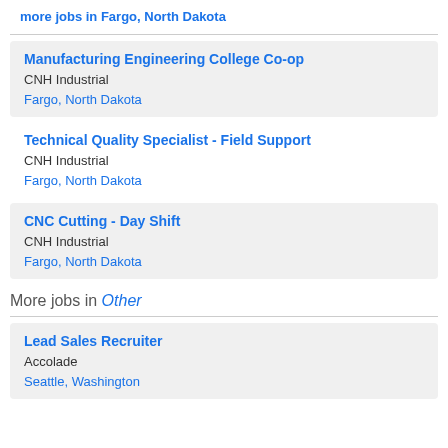more jobs in Fargo, North Dakota
Manufacturing Engineering College Co-op
CNH Industrial
Fargo, North Dakota
Technical Quality Specialist - Field Support
CNH Industrial
Fargo, North Dakota
CNC Cutting - Day Shift
CNH Industrial
Fargo, North Dakota
More jobs in Other
Lead Sales Recruiter
Accolade
Seattle, Washington